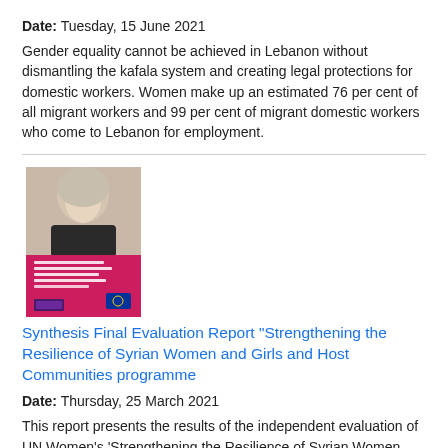Date: Tuesday, 15 June 2021
Gender equality cannot be achieved in Lebanon without dismantling the kafala system and creating legal protections for domestic workers. Women make up an estimated 76 per cent of all migrant workers and 99 per cent of migrant domestic workers who come to Lebanon for employment.
[Figure (photo): Cover image of evaluation report showing a woman in hijab, with pink/red lower section containing report title text and EU/UN Women logos]
Synthesis Final Evaluation Report "Strengthening the Resilience of Syrian Women and Girls and Host Communities programme
Date: Thursday, 25 March 2021
This report presents the results of the independent evaluation of UN Women's 'Strengthening the Resilience of Syrian Women and Girls and Host Communities' ("Madad") programme and offers lessons and recommendations for future programming on gender equality and women's empowerment. The Synthesis report includes